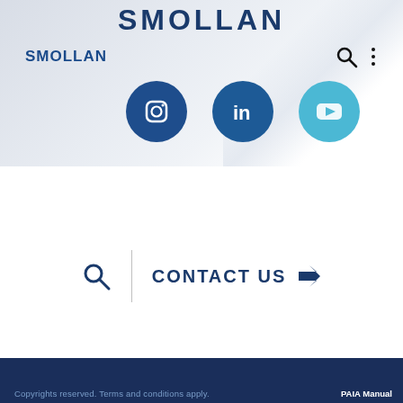SMOLLAN
[Figure (screenshot): Smollan website screenshot showing navigation bar with SMOLLAN logo, search icon, and three-dot menu, followed by three social media icons (Instagram, LinkedIn, YouTube), a contact us section with search icon and arrow button, and a dark blue footer with copyright and PAIA Manual text.]
Copyrights reserved. Terms and conditions apply. PAIA Manual